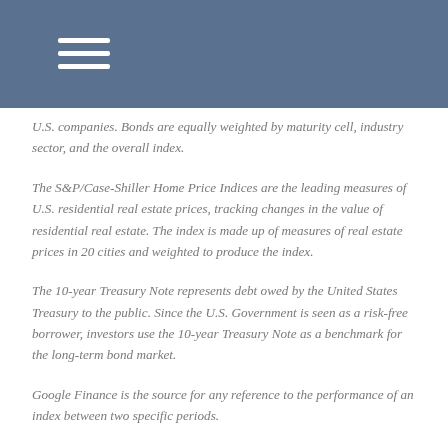U.S. companies. Bonds are equally weighted by maturity cell, industry sector, and the overall index.
The S&P/Case-Shiller Home Price Indices are the leading measures of U.S. residential real estate prices, tracking changes in the value of residential real estate. The index is made up of measures of real estate prices in 20 cities and weighted to produce the index.
The 10-year Treasury Note represents debt owed by the United States Treasury to the public. Since the U.S. Government is seen as a risk-free borrower, investors use the 10-year Treasury Note as a benchmark for the long-term bond market.
Google Finance is the source for any reference to the performance of an index between two specific periods.